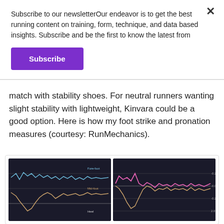Subscribe to our newsletterOur endeavor is to get the best running content on training, form, technique, and data based insights. Subscribe and be the first to know the latest from
Subscribe
match with stability shoes. For neutral runners wanting slight stability with lightweight, Kinvara could be a good option. Here is how my foot strike and pronation measures (courtesy: RunMechanics).
[Figure (continuous-plot): Dark background line chart showing foot strike data with blue and orange lines labeled 'Fore-foot', 'Mid-foot', and 'Heel']
[Figure (continuous-plot): Dark background line chart showing pronation data with pink and orange lines, y-axis showing values around -0.2, -0.0, -0.2, 2.0]